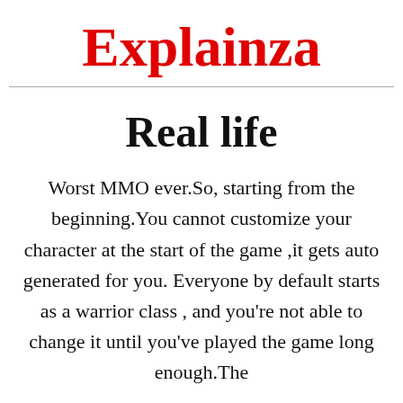Explainza
Real life
Worst MMO ever.So, starting from the beginning.You cannot customize your character at the start of the game ,it gets auto generated for you. Everyone by default starts as a warrior class , and you're not able to change it until you've played the game long enough.The